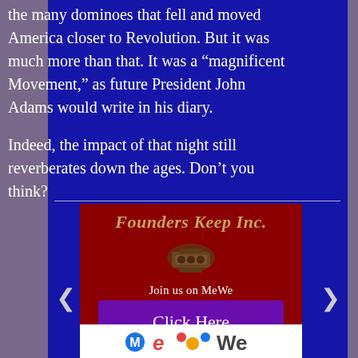the many dominoes that fell and moved America closer to Revolution. But it was much more than that. It was a "magnificent Movement," as future President John Adams would write in his diary.

Indeed, the impact of that night still reverberates down the ages. Don't you think?
[Figure (infographic): Founders Keep Inc. advertisement banner on dark red background. Shows decorative gold italic title 'Founders Keep Inc.', a vintage telephone image, text 'Join us on MeWe', a purple 'Click Here' button, and partial MeWe logo at bottom. Navigation arrows on left and right sides.]